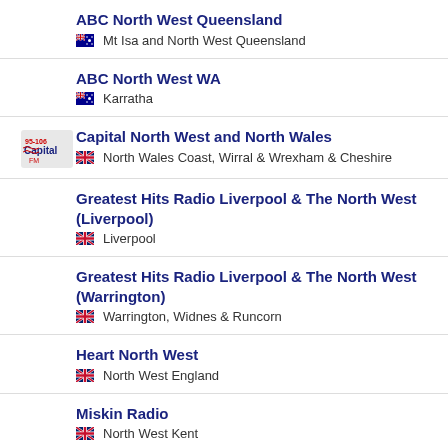ABC North West Queensland
🇦🇺 Mt Isa and North West Queensland
ABC North West WA
🇦🇺 Karratha
Capital North West and North Wales
🇬🇧 North Wales Coast, Wirral & Wrexham & Cheshire
Greatest Hits Radio Liverpool & The North West (Liverpool)
🇬🇧 Liverpool
Greatest Hits Radio Liverpool & The North West (Warrington)
🇬🇧 Warrington, Widnes & Runcorn
Heart North West
🇬🇧 North West England
Miskin Radio
🇬🇧 North West Kent